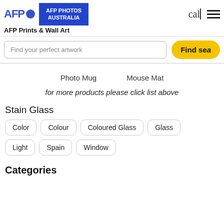AFP PHOTOS AUSTRALIA
AFP Prints & Wall Art
Find your perfect artwork
Find search
Photo Mug   Mouse Mat
for more products please click list above
Stain Glass
Color
Colour
Coloured Glass
Glass
Light
Spain
Window
Categories